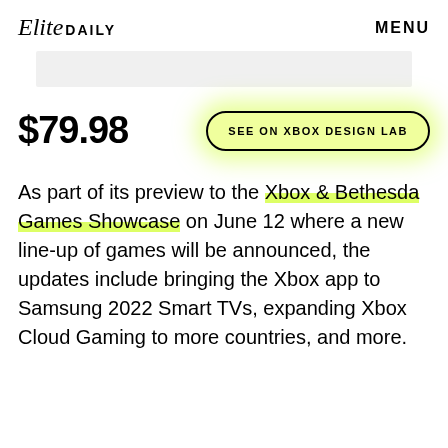Elite DAILY   MENU
[Figure (other): Gray advertisement banner placeholder]
$79.98
SEE ON XBOX DESIGN LAB
As part of its preview to the Xbox & Bethesda Games Showcase on June 12 where a new line-up of games will be announced, the updates include bringing the Xbox app to Samsung 2022 Smart TVs, expanding Xbox Cloud Gaming to more countries, and more.